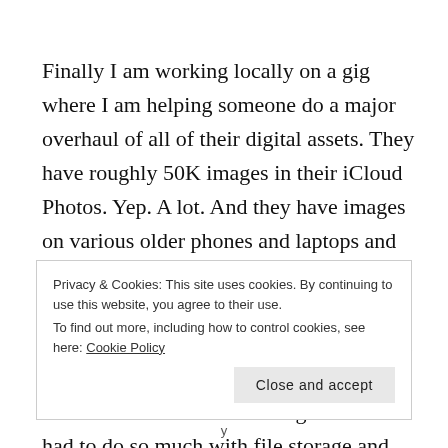Finally I am working locally on a gig where I am helping someone do a major overhaul of all of their digital assets. They have roughly 50K images in their iCloud Photos. Yep. A lot. And they have images on various older phones and laptops and SD cards and so forth. What the mission is, is to take all of these images and organize them by year and then park them on a new 18TB NAS drive. NAS stands for “Network Attached Storage”. I have had to do so much with file storage and
Privacy & Cookies: This site uses cookies. By continuing to use this website, you agree to their use.
To find out more, including how to control cookies, see here: Cookie Policy
Close and accept